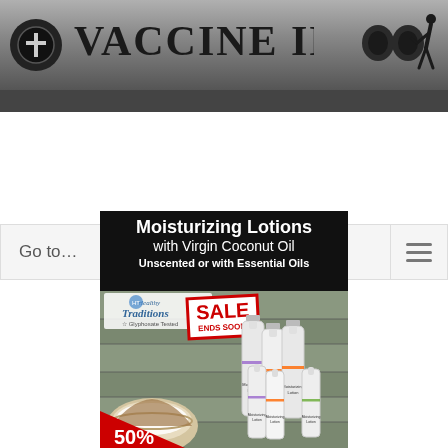Vaccine Impact
Go to...
[Figure (photo): Advertisement for Moisturizing Lotions with Virgin Coconut Oil by Healthy Traditions. Text reads: Moisturizing Lotions with Virgin Coconut Oil, Unscented or with Essential Oils. Healthy Traditions Glyphosate Tested logo. SALE ENDS SOON! badge. 50% off. Shows lotion bottles on stone background with coconut.]